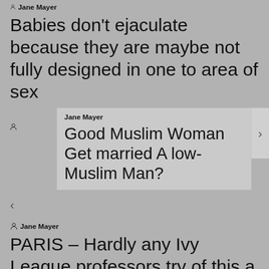Jane Mayer
Babies don't ejaculate because they are maybe not fully designed in one to area of sex
Jane Mayer
Good Muslim Woman Get married A low-Muslim Man?
Jane Mayer
PARIS – Hardly any Ivy League professors try of this a form of